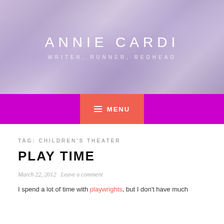ANNIE CARDI
WRITER, RUNNER, REDHEAD
MENU
TAG: CHILDREN'S THEATER
PLAY TIME
March 22, 2012   Leave a comment
I spend a lot of time with playwrights, but I don't have much experience with visiting the theater for my own enjoyment. Or I